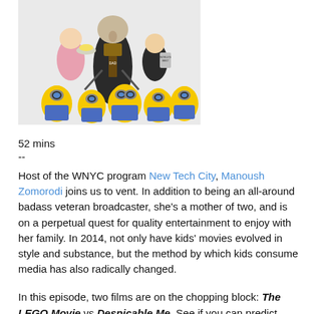[Figure (illustration): Promotional image from Despicable Me showing Gru and his daughters with Minions characters in the foreground]
52 mins
--
Host of the WNYC program New Tech City, Manoush Zomorodi joins us to vent. In addition to being an all-around badass veteran broadcaster, she’s a mother of two, and is on a perpetual quest for quality entertainment to enjoy with her family. In 2014, not only have kids’ movies evolved in style and substance, but the method by which kids consume media has also radically changed.
In this episode, two films are on the chopping block: The LEGO Movie vs.Despicable Me. See if you can predict which one won over Manoush’s family and which one was a tremendous disappointment. The factors that make a movie “good” for a film enthusiast who is also